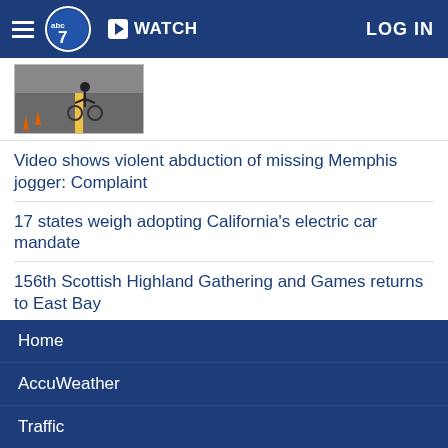ABC7 | WATCH | LOG IN
[Figure (photo): Thumbnail image of a bicycle rider on a road with orange cones]
Video shows violent abduction of missing Memphis jogger: Complaint
17 states weigh adopting California's electric car mandate
156th Scottish Highland Gathering and Games returns to East Bay
Trump calls Biden 'enemy of the state' during 1st rally since FBI raid
SHOW MORE
Home
AccuWeather
Traffic